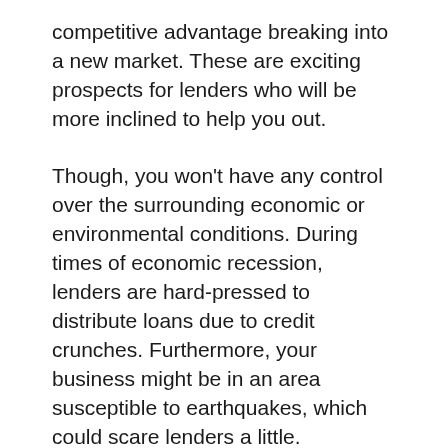competitive advantage breaking into a new market. These are exciting prospects for lenders who will be more inclined to help you out.
Though, you won't have any control over the surrounding economic or environmental conditions. During times of economic recession, lenders are hard-pressed to distribute loans due to credit crunches. Furthermore, your business might be in an area susceptible to earthquakes, which could scare lenders a little.
Consider everything going on around you and see if now is the best time for you to apply for a loan.